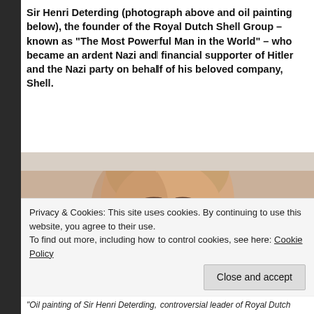Sir Henri Deterding (photograph above and oil painting below), the founder of the Royal Dutch Shell Group – known as "The Most Powerful Man in the World" – who became an ardent Nazi and financial supporter of Hitler and the Nazi party on behalf of his beloved company, Shell.
[Figure (photo): Oil painting portrait of Sir Henri Deterding, a bald middle-aged man with a white mustache, looking forward against a light background.]
Privacy & Cookies: This site uses cookies. By continuing to use this website, you agree to their use.
To find out more, including how to control cookies, see here: Cookie Policy
Close and accept
"Oil painting of Sir Henri Deterding, controversial leader of Royal Dutch